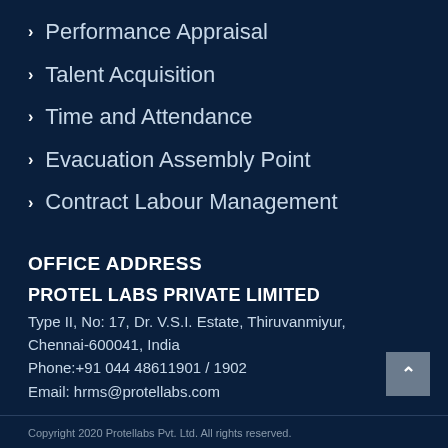Performance Appraisal
Talent Acquisition
Time and Attendance
Evacuation Assembly Point
Contract Labour Management
OFFICE ADDRESS
PROTEL LABS PRIVATE LIMITED
Type II, No: 17, Dr. V.S.I. Estate, Thiruvanmiyur, Chennai-600041, India
Phone:+91 044 48611901 / 1902
Email: hrms@protellabs.com
Copyright 2020 Protellabs Pvt. Ltd. All rights reserved.